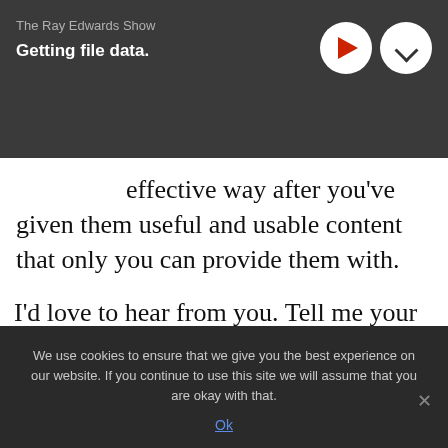The Ray Edwards Show
Getting file data.
effective way after you've given them useful and usable content that only you can provide them with.
I'd love to hear from you. Tell me your biggest takeaway from today's show on Twitter @rayedwards, on Instagram @rayedwards, and on Facebook too.
We use cookies to ensure that we give you the best experience on our website. If you continue to use this site we will assume that you are okay with that.
Ok